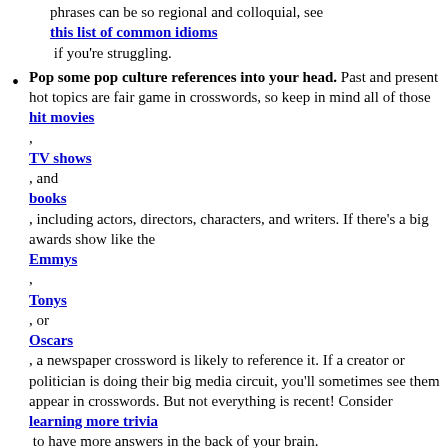phrases can be so regional and colloquial, see this list of common idioms if you're struggling.
Pop some pop culture references into your head. Past and present hot topics are fair game in crosswords, so keep in mind all of those hit movies , TV shows , and books , including actors, directors, characters, and writers. If there's a big awards show like the Emmys , Tonys , or Oscars , a newspaper crossword is likely to reference it. If a creator or politician is doing their big media circuit, you'll sometimes see them appear in crosswords. But not everything is recent! Consider learning more trivia to have more answers in the back of your brain.
Consider the all-important theme. Crossword writers focus on the theme.